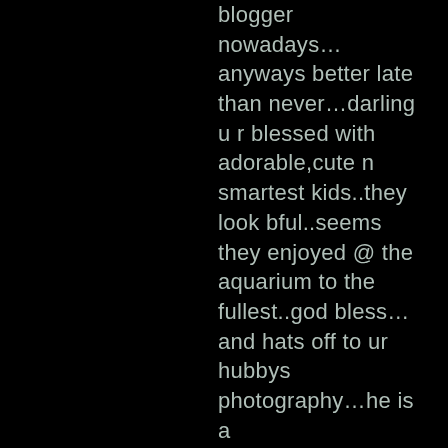blogger nowadays…anyways better late than never…darling u r blessed with adorable,cute n smartest kids..they look bful..seems they enjoyed @ the aquarium to the fullest..god bless…and hats off to ur hubbys photography…he is a master….amazing pics…thanks for sharing…
REPLY
Pavithra Elangovan
January 13, 2011 at 1:58 AM